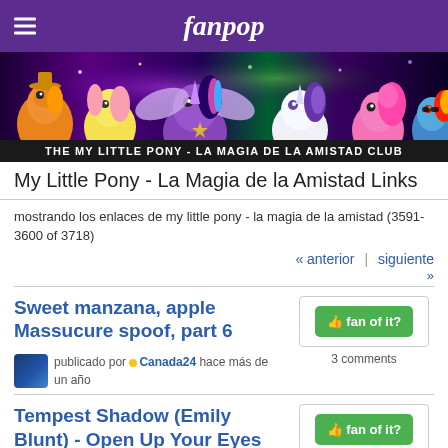fanpop
[Figure (illustration): My Little Pony - La Magia de la Amistad character banner showing colorful pony characters]
THE MY LITTLE PONY - LA MAGIA DE LA AMISTAD CLUB
My Little Pony - La Magia de la Amistad Links
mostrando los enlaces de my little pony - la magia de la amistad (3591-3600 of 3718)
« anterior  |  siguiente »
Sweet manzana, apple Massucure spoof, part 6
publicado por Canada24 hace más de un año
3 comments
Tempest Shadow (Emily Blunt) - Open Up Your Eyes (lyrics)
publicado por TimberHumphrey
hace más de un año
añadir comentario